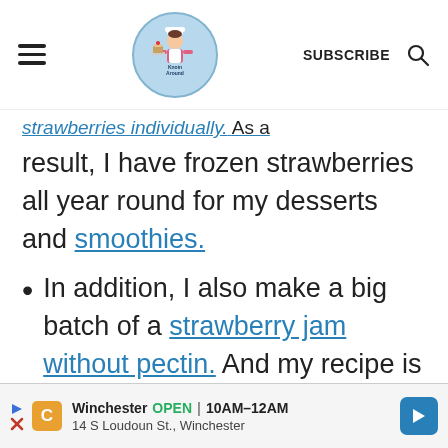Knoin Around – SUBSCRIBE
strawberries individually. As a result, I have frozen strawberries all year round for my desserts and smoothies.
In addition, I also make a big batch of a strawberry jam without pectin. And my recipe is low in sugar, therefore you
Winchester OPEN 10AM–12AM 14 S Loudoun St., Winchester